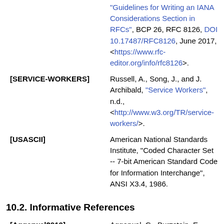"Guidelines for Writing an IANA Considerations Section in RFCs", BCP 26, RFC 8126, DOI 10.17487/RFC8126, June 2017, <https://www.rfc-editor.org/info/rfc8126>.
[SERVICE-WORKERS]  Russell, A., Song, J., and J. Archibald, "Service Workers", n.d., <http://www.w3.org/TR/service-workers/>.
[USASCII]  American National Standards Institute, "Coded Character Set -- 7-bit American Standard Code for Information Interchange", ANSI X3.4, 1986.
10.2. Informative References
[Aggarwal2010]  Aggarwal, G., Burzstein, E., Jackson, C., and D. Boneh, "An Analysis of Private Browsing Modes in Modern Browsers", 2010.